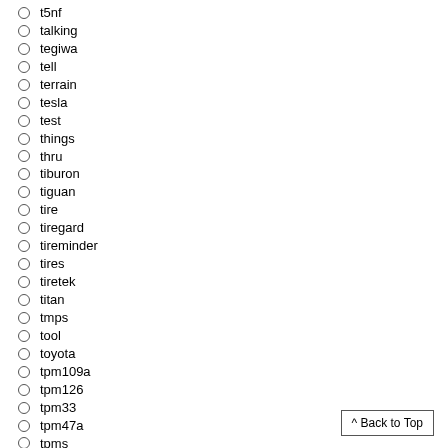t5nf
talking
tegiwa
tell
terrain
tesla
test
things
thru
tiburon
tiguan
tire
tiregard
tireminder
tires
tiretek
titan
tmps
tool
toyota
tpm109a
tpm126
tpm33
tpm47a
tpms
^ Back to Top